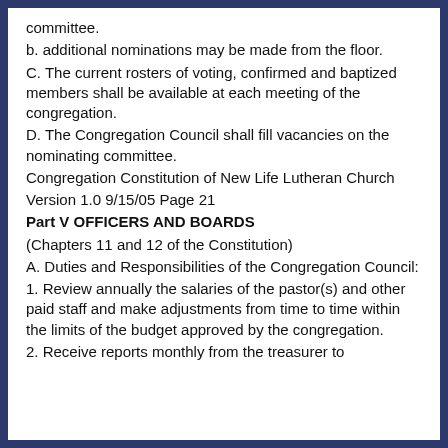committee.
b. additional nominations may be made from the floor.
C. The current rosters of voting, confirmed and baptized members shall be available at each meeting of the congregation.
D. The Congregation Council shall fill vacancies on the nominating committee.
Congregation Constitution of New Life Lutheran Church
Version 1.0 9/15/05 Page 21
Part V OFFICERS AND BOARDS
(Chapters 11 and 12 of the Constitution)
A. Duties and Responsibilities of the Congregation Council:
1. Review annually the salaries of the pastor(s) and other paid staff and make adjustments from time to time within the limits of the budget approved by the congregation.
2. Receive reports monthly from the treasurer to